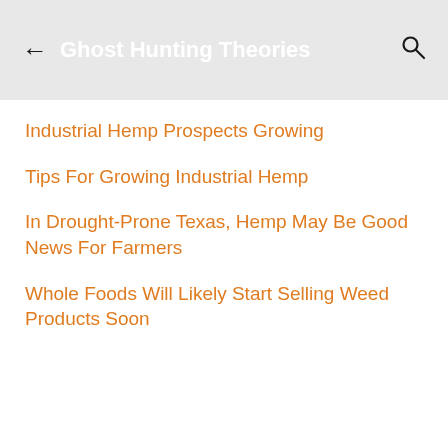Ghost Hunting Theories
Industrial Hemp Prospects Growing
Tips For Growing Industrial Hemp
In Drought-Prone Texas, Hemp May Be Good News For Farmers
Whole Foods Will Likely Start Selling Weed Products Soon